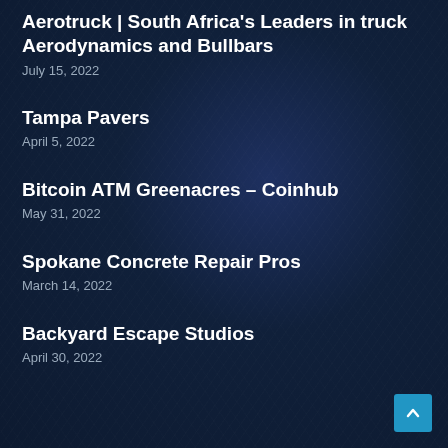Aerotruck | South Africa's Leaders in truck Aerodynamics and Bullbars
July 15, 2022
Tampa Pavers
April 5, 2022
Bitcoin ATM Greenacres – Coinhub
May 31, 2022
Spokane Concrete Repair Pros
March 14, 2022
Backyard Escape Studios
April 30, 2022